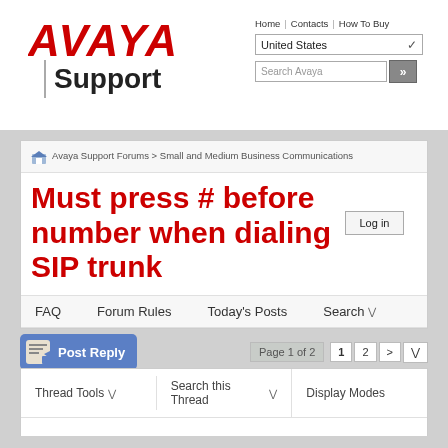[Figure (logo): Avaya logo in red italic bold text]
Support
Home | Contacts | How To Buy
United States
Search Avaya
Avaya Support Forums > Small and Medium Business Communications
Must press # before number when dialing SIP trunk
Log in
FAQ   Forum Rules   Today's Posts   Search
Post Reply   Page 1 of 2   1  2  >
Thread Tools   Search this Thread   Display Modes